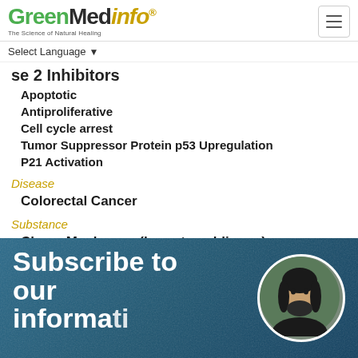GreenMedInfo - The Science of Natural Healing
Select Language
se 2 Inhibitors
Apoptotic
Antiproliferative
Cell cycle arrest
Tumor Suppressor Protein p53 Upregulation
P21 Activation
Disease
Colorectal Cancer
Substance
Chaga Mushroom (Inonotus obliquus)
Subscribe to our information